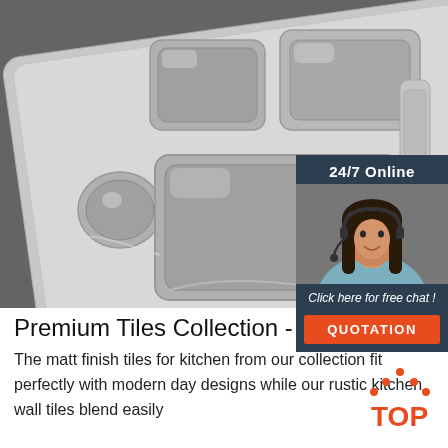[Figure (photo): Stainless steel divided meal tray with multiple compartments, photographed on a geometric patterned surface in black and white]
[Figure (infographic): Dark navy chat box overlay with '24/7 Online' header, photo of female customer service agent with headset, text 'Click here for free chat !' and orange QUOTATION button]
Premium Tiles Collection - Kajaria
The matt finish tiles for kitchen from our collection fit perfectly with modern day designs while our rustic kitchen wall tiles blend easily
[Figure (logo): TOP logo with orange text and dots arranged in a triangle above the word TOP]